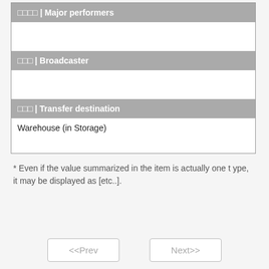□□□□ | Major performers
□□□ | Broadcaster
□□□ | Transfer destination
Warehouse (in Storage)
* Even if the value summarized in the item is actually one type, it may be displayed as [etc..].
<<Prev
Next>>